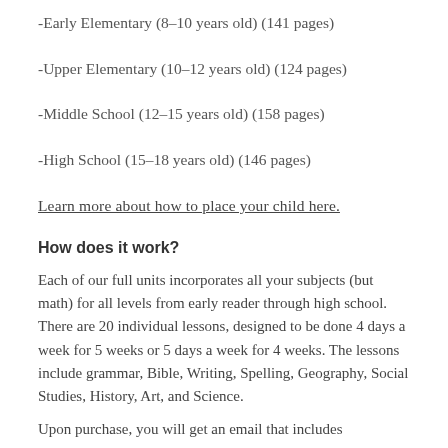-Early Elementary (8-10 years old) (141 pages)
-Upper Elementary (10-12 years old) (124 pages)
-Middle School (12-15 years old) (158 pages)
-High School (15-18 years old) (146 pages)
Learn more about how to place your child here.
How does it work?
Each of our full units incorporates all your subjects (but math) for all levels from early reader through high school. There are 20 individual lessons, designed to be done 4 days a week for 5 weeks or 5 days a week for 4 weeks. The lessons include grammar, Bible, Writing, Spelling, Geography, Social Studies, History, Art, and Science.
Upon purchase, you will get an email that includes